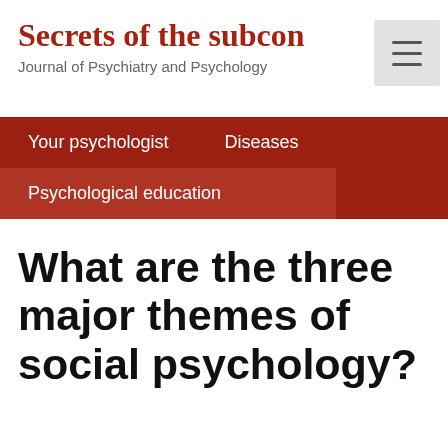Secrets of the subcon
Journal of Psychiatry and Psychology
Your psychologist
Diseases
Psychological education
What are the three major themes of social psychology?